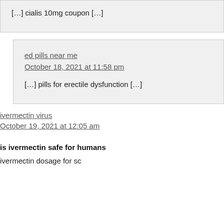[…] cialis 10mg coupon […]
ed pills near me
October 18, 2021 at 11:58 pm
[…] pills for erectile dysfunction […]
ivermectin virus
October 19, 2021 at 12:05 am
is ivermectin safe for humans
ivermectin dosage for scabies